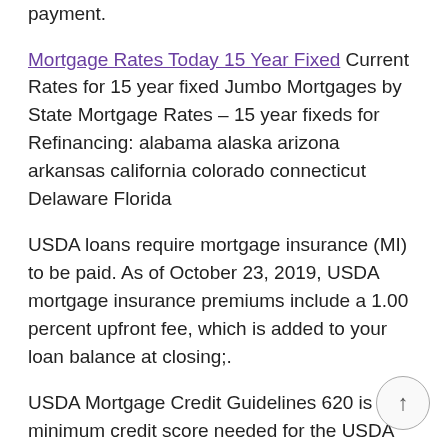payment.
Mortgage Rates Today 15 Year Fixed Current Rates for 15 year fixed Jumbo Mortgages by State Mortgage Rates – 15 year fixeds for Refinancing: alabama alaska arizona arkansas california colorado connecticut Delaware Florida
USDA loans require mortgage insurance (MI) to be paid. As of October 23, 2019, USDA mortgage insurance premiums include a 1.00 percent upfront fee, which is added to your loan balance at closing;.
USDA Mortgage Credit Guidelines 620 is the minimum credit score needed for the USDA Guaranteed Mortgage Program. When obtaining a USDA Mortgage, there will a credit report pulled from the three credit burueas: experian, Equifax, and TransUnion.